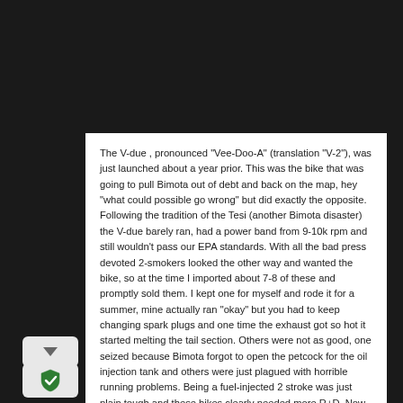The V-due , pronounced "Vee-Doo-A" (translation "V-2"), was just launched about a year prior. This was the bike that was going to pull Bimota out of debt and back on the map, hey "what could possible go wrong" but did exactly the opposite. Following the tradition of the Tesi (another Bimota disaster) the V-due barely ran, had a power band from 9-10k rpm and still wouldn't pass our EPA standards. With all the bad press devoted 2-smokers looked the other way and wanted the bike, so at the time I imported about 7-8 of these and promptly sold them. I kept one for myself and rode it for a summer, mine actually ran "okay" but you had to keep changing spark plugs and one time the exhaust got so hot it started melting the tail section. Others were not as good, one seized because Bimota forgot to open the petcock for the oil injection tank and others were just plagued with horrible running problems. Being a fuel-injected 2 stroke was just plain tough and these bikes clearly needed more R+D. Now stacked with a warehouse of unsold V-due's Bimota decided to sell some as race bikes, then convert some to carb's to try to move them but nothing worked.